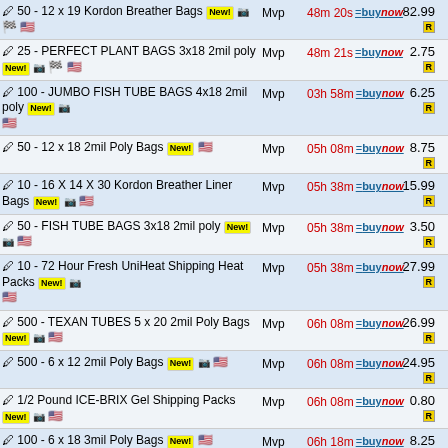| Item | Seller | Time/Buy | Price |
| --- | --- | --- | --- |
| 50 - 12 x 19 Kordon Breather Bags New! | Mvp | 48m 20s =buynow | 82.99 |
| 25 - PERFECT PLANT BAGS 3x18 2mil poly New! | Mvp | 48m 21s =buynow | 2.75 |
| 100 - JUMBO FISH TUBE BAGS 4x18 2mil poly New! | Mvp | 03h 58m =buynow | 6.25 |
| 50 - 12 x 18 2mil Poly Bags New! | Mvp | 05h 08m =buynow | 8.75 |
| 10 - 16 X 14 X 30 Kordon Breather Liner Bags New! | Mvp | 05h 38m =buynow | 15.99 |
| 50 - FISH TUBE BAGS 3x18 2mil poly New! | Mvp | 05h 38m =buynow | 3.50 |
| 10 - 72 Hour Fresh UniHeat Shipping Heat Packs New! | Mvp | 05h 38m =buynow | 27.99 |
| 500 - TEXAN TUBES 5 x 20 2mil Poly Bags New! | Mvp | 06h 08m =buynow | 26.99 |
| 500 - 6 x 12 2mil Poly Bags New! | Mvp | 06h 08m =buynow | 24.95 |
| 1/2 Pound ICE-BRIX Gel Shipping Packs New! | Mvp | 06h 08m =buynow | 0.80 |
| 100 - 6 x 18 3mil Poly Bags New! | Mvp | 06h 18m =buynow | 8.25 |
| 72 Hour Fresh UniHeat Shipping Heat Packs New! | Mvp | 06h 28m =buynow | 3.00 |
| 1000 - 6 x 12 2mil Poly Bags | Mvp | 06h 38m =buynow | 49.95 |